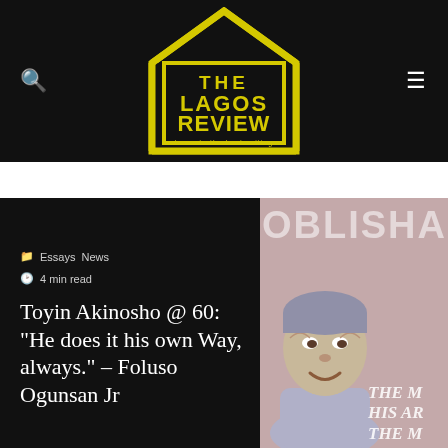The Lagos Review — home to the best writing
Toyin Akinosho @ 60: "He does it his own Way, always." – Foluso Ogunsan Jr
Essays  News
4 min read
[Figure (photo): Illustrated portrait of a person on pinkish-mauve background with text 'OBLISHAAAA' at top and italic text 'THE M HIS AR THE M' at bottom right]
[Figure (logo): The Lagos Review logo — house outline in yellow with bold yellow text 'THE LAGOS REVIEW' and tagline '... home to the best writing ...']